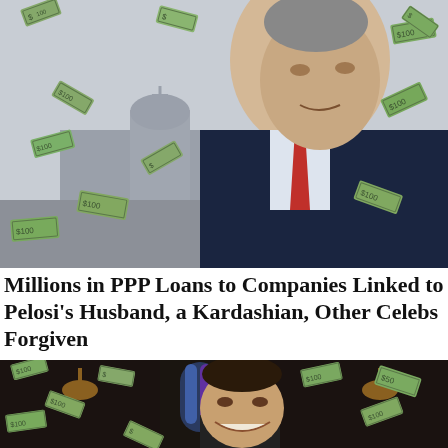[Figure (photo): Composite photo of an older man in a dark suit and red tie with US Capitol building in background, dollar bills flying through the air around him.]
Millions in PPP Loans to Companies Linked to Pelosi's Husband, a Kardashian, Other Celebs Forgiven
[Figure (photo): Composite photo of a middle-aged man smiling, wearing clerical clothing, with a church interior featuring stained glass windows in the background and dollar bills flying around him.]